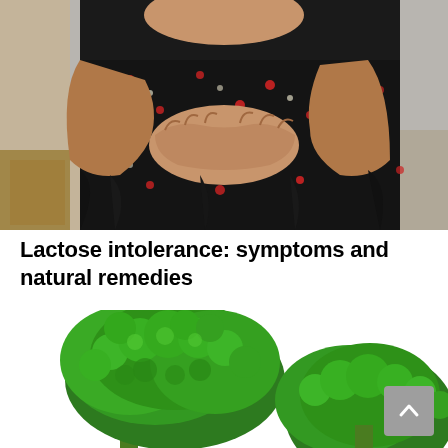[Figure (photo): Woman in black floral dress holding her stomach/abdomen with both hands, suggesting stomach pain or discomfort. Background is a muted gray/beige interior.]
Lactose intolerance: symptoms and natural remedies
[Figure (photo): Fresh broccoli florets on a white background, large green crowns prominently displayed.]